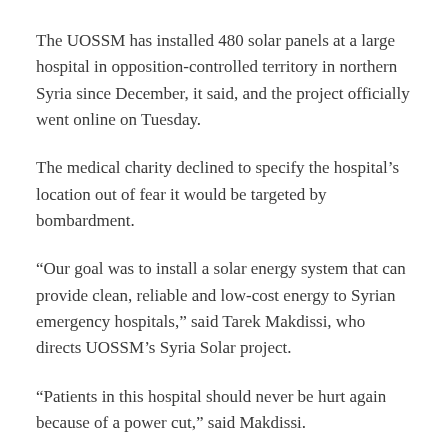The UOSSM has installed 480 solar panels at a large hospital in opposition-controlled territory in northern Syria since December, it said, and the project officially went online on Tuesday.
The medical charity declined to specify the hospital's location out of fear it would be targeted by bombardment.
“Our goal was to install a solar energy system that can provide clean, reliable and low-cost energy to Syrian emergency hospitals,” said Tarek Makdissi, who directs UOSSM’s Syria Solar project.
“Patients in this hospital should never be hurt again because of a power cut,” said Makdissi.